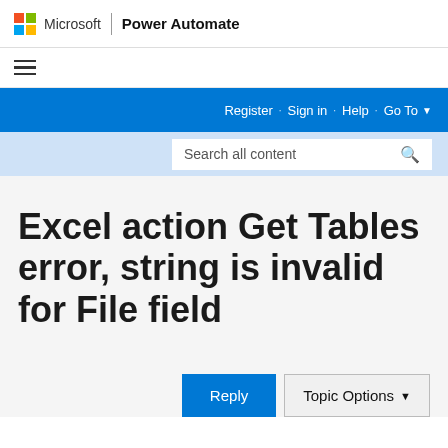Microsoft | Power Automate
Excel action Get Tables error, string is invalid for File field